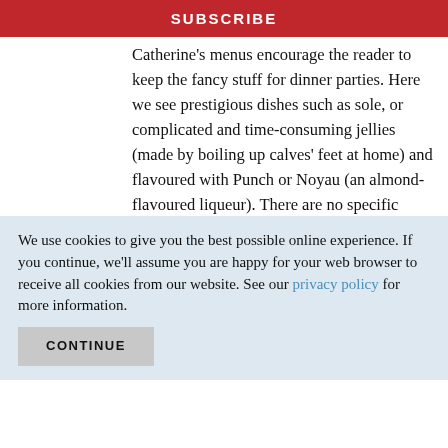SUBSCRIBE
Catherine's menus encourage the reader to keep the fancy stuff for dinner parties. Here we see prestigious dishes such as sole, or complicated and time-consuming jellies (made by boiling up calves' feet at home) and flavoured with Punch or Noyau (an almond-flavoured liqueur). There are no specific Christmas recipes, but Catherine puts a note as to seasonality on her menus and we can see from the ones she recommends for the winter
We use cookies to give you the best possible online experience. If you continue, we'll assume you are happy for your web browser to receive all cookies from our website. See our privacy policy for more information.
CONTINUE